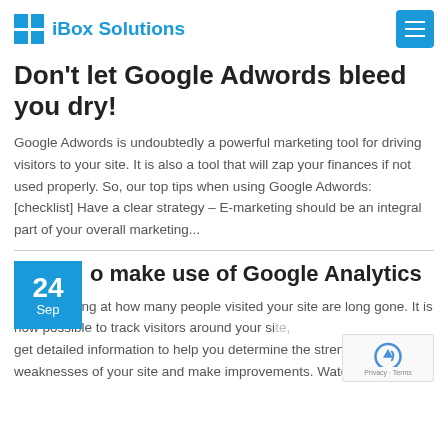iBox Solutions
Don't let Google Adwords bleed you dry!
Google Adwords is undoubtedly a powerful marketing tool for driving visitors to your site. It is also a tool that will zap your finances if not used properly. So, our top tips when using Google Adwords: [checklist] Have a clear strategy – E-marketing should be an integral part of your overall marketing...
o make use of Google Analytics
of just looking at how many people visited your site are long gone. It is now possible to track visitors around your site, get detailed information to help you determine the strength weaknesses of your site and make improvements. Watch this